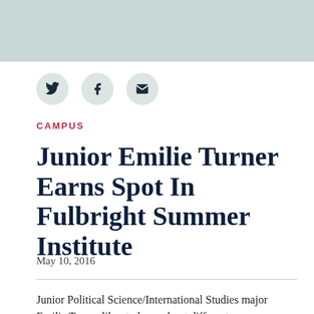[Figure (photo): Light sage/mint green banner image at the top of the article page]
[Figure (infographic): Three circular social share buttons: Twitter bird icon, Facebook f icon, and email envelope icon, in light grey circles]
CAMPUS
Junior Emilie Turner Earns Spot In Fulbright Summer Institute
May 10, 2016
Junior Political Science/International Studies major Emilie Turner likes to learn about different